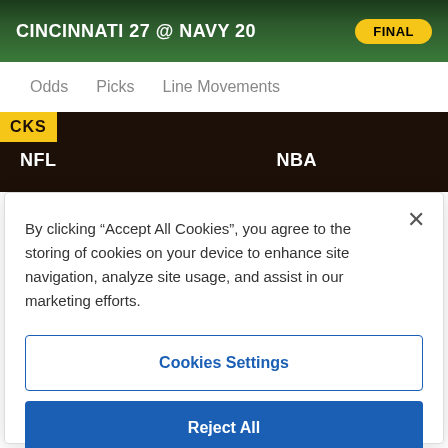CINCINNATI 27 @ NAVY 20 FINAL
Odds   Picks   Line Movements
CKS  NFL  NBA
By clicking “Accept All Cookies”, you agree to the storing of cookies on your device to enhance site navigation, analyze site usage, and assist in our marketing efforts.
Cookies Settings
Reject All
Accept All Cookies